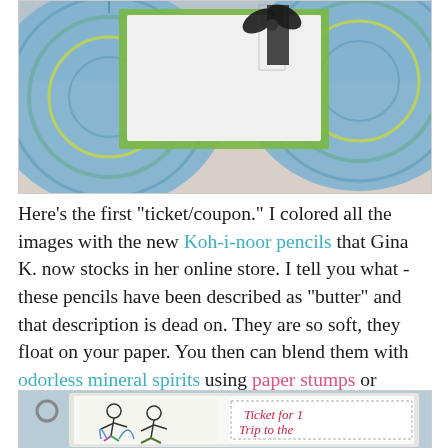[Figure (photo): Photo of a handmade craft book/album with decorative mandala-patterned paper in blue, green and yellow with a black and white gingham ribbon bow on top]
Here's the first "ticket/coupon." I colored all the images with the new Koh-i-noor pencils that Gina K. now stocks in her online store. I tell you what - these pencils have been described as "butter" and that description is dead on. They are so soft, they float on your paper. You then can blend them with odorless mineral spirits using paper stumps or tortillions.
[Figure (photo): Photo of a handmade ticket/coupon card showing two children playing in a spray park with colored pencil illustration and red cursive text reading 'Ticket for 1 Trip to the spray park']